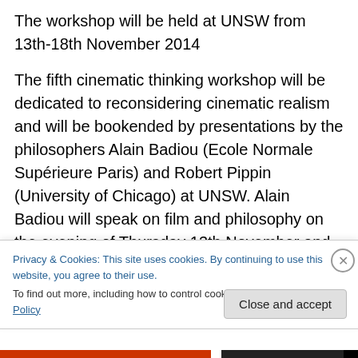The workshop will be held at UNSW from 13th-18th November 2014
The fifth cinematic thinking workshop will be dedicated to reconsidering cinematic realism and will be bookended by presentations by the philosophers Alain Badiou (Ecole Normale Supérieure Paris) and Robert Pippin (University of Chicago) at UNSW. Alain Badiou will speak on film and philosophy on the evening of Thursday 13th November and Robert Pippin will present
Privacy & Cookies: This site uses cookies. By continuing to use this website, you agree to their use.
To find out more, including how to control cookies, see here: Cookie Policy
Close and accept